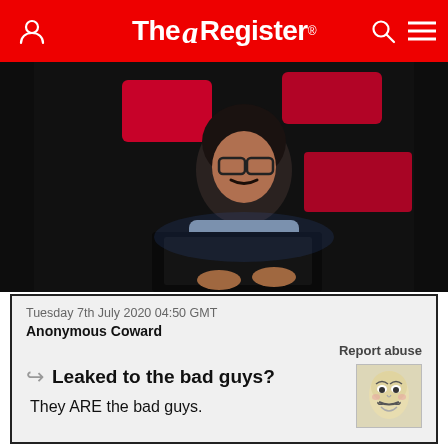The Register
[Figure (photo): Person with curly hair and glasses working on a laptop in a dark room with red illuminated squares in background]
Tuesday 7th July 2020 04:50 GMT
Anonymous Coward
Report abuse
Leaked to the bad guys?
They ARE the bad guys.